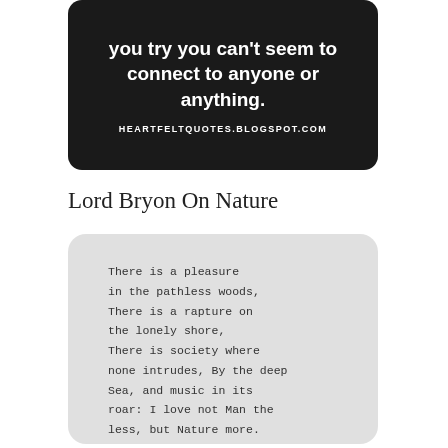[Figure (other): Dark black rounded card with white bold text reading 'you try you can't seem to connect to anyone or anything.' and URL HEARTFELTQUOTES.BLOGSPOT.COM at bottom]
Lord Bryon On Nature
[Figure (other): Light grey rounded card with monospace typewriter-style poem text: 'There is a pleasure in the pathless woods, There is a rapture on the lonely shore, There is society where none intrudes, By the deep Sea, and music in its roar: I love not Man the less, but Nature more.']